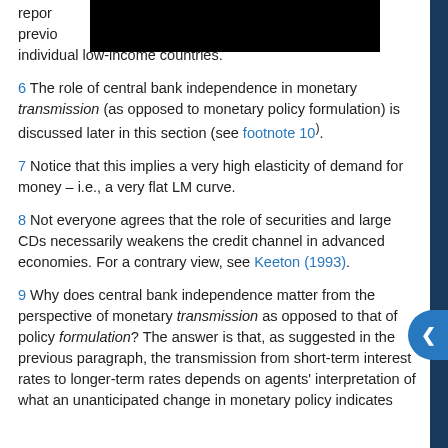repor experience. previo y individual low-income countries.
6 The role of central bank independence in monetary transmission (as opposed to monetary policy formulation) is discussed later in this section (see footnote 10).
7 Notice that this implies a very high elasticity of demand for money – i.e., a very flat LM curve.
8 Not everyone agrees that the role of securities and large CDs necessarily weakens the credit channel in advanced economies. For a contrary view, see Keeton (1993).
9 Why does central bank independence matter from the perspective of monetary transmission as opposed to that of policy formulation? The answer is that, as suggested in the previous paragraph, the transmission from short-term interest rates to longer-term rates depends on agents' interpretation of what an unanticipated change in monetary policy indicates